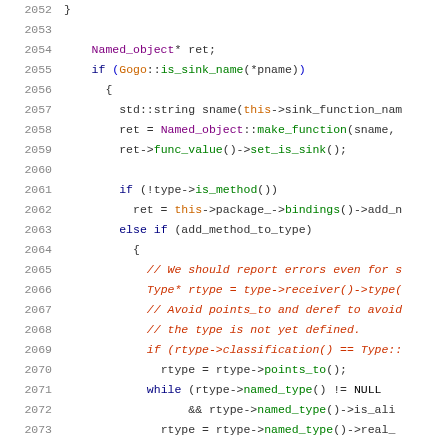Source code listing lines 2052-2073, C++ code
2052     }
2053
2054     Named_object* ret;
2055     if (Gogo::is_sink_name(*pname))
2056       {
2057         std::string sname(this->sink_function_nam
2058         ret = Named_object::make_function(sname,
2059         ret->func_value()->set_is_sink();
2060
2061         if (!type->is_method())
2062           ret = this->package_->bindings()->add_n
2063         else if (add_method_to_type)
2064           {
2065             // We should report errors even for s
2066             Type* rtype = type->receiver()->type(
2067             // Avoid points_to and deref to avoid
2068             // the type is not yet defined.
2069             if (rtype->classification() == Type::
2070               rtype = rtype->points_to();
2071             while (rtype->named_type() != NULL
2072                    && rtype->named_type()->is_ali
2073               rtype = rtype->named_type()->real_